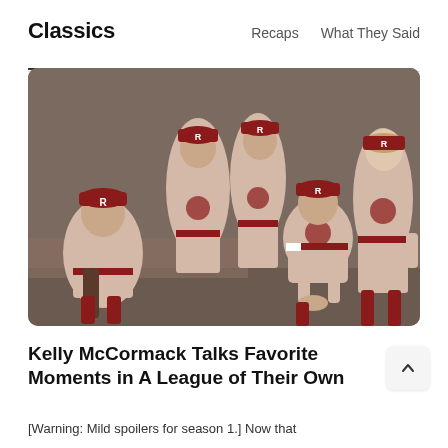Classics    Recaps    What They Said
[Figure (photo): Several women in 1940s-style pink baseball uniforms with dark red caps labeled 'R' and dark red socks, posed in a dugout. One player crouches in the foreground in an intense stance.]
Kelly McCormack Talks Favorite Moments in A League of Their Own
[Warning: Mild spoilers for season 1.] Now that